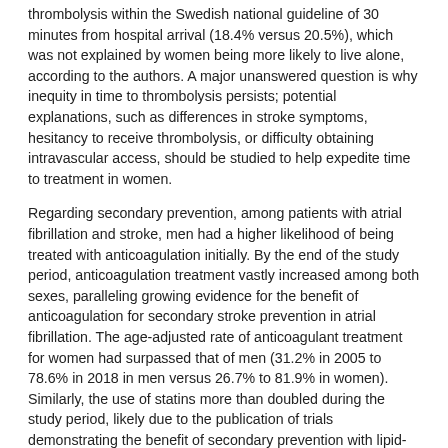thrombolysis within the Swedish national guideline of 30 minutes from hospital arrival (18.4% versus 20.5%), which was not explained by women being more likely to live alone, according to the authors. A major unanswered question is why inequity in time to thrombolysis persists; potential explanations, such as differences in stroke symptoms, hesitancy to receive thrombolysis, or difficulty obtaining intravascular access, should be studied to help expedite time to treatment in women.
Regarding secondary prevention, among patients with atrial fibrillation and stroke, men had a higher likelihood of being treated with anticoagulation initially. By the end of the study period, anticoagulation treatment vastly increased among both sexes, paralleling growing evidence for the benefit of anticoagulation for secondary stroke prevention in atrial fibrillation. The age-adjusted rate of anticoagulant treatment for women had surpassed that of men (31.2% in 2005 to 78.6% in 2018 in men versus 26.7% to 81.9% in women). Similarly, the use of statins more than doubled during the study period, likely due to the publication of trials demonstrating the benefit of secondary prevention with lipid-lowering medications, with women narrowing but not closing the gap in statin therapy (36.9% in 2005 to 83.7% in 2018 in men versus 32.3% to 81.2% in women).
The main strength of this study is use of nationwide data in a longitudinal manner to examine temporal trends to study sex differences in stroke care.